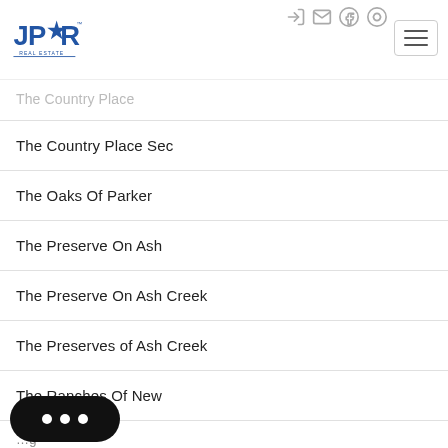JPAR Real Estate navigation header
The Country Place
The Country Place Sec
The Oaks Of Parker
The Preserve On Ash
The Preserve On Ash Creek
The Preserves of Ash Creek
The Ranches Of New
...g